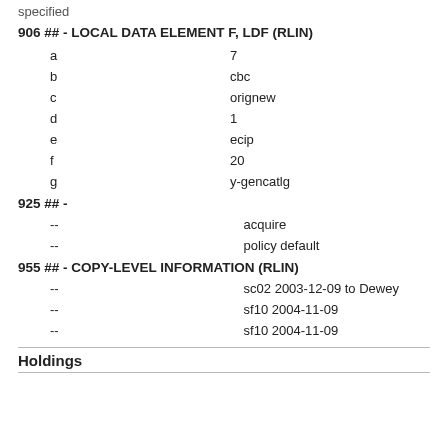specified
906 ## - LOCAL DATA ELEMENT F, LDF (RLIN)
a    7
b    cbc
c    orignew
d    1
e    ecip
f    20
g    y-gencatlg
925 ## -
--    acquire
--    policy default
955 ## - COPY-LEVEL INFORMATION (RLIN)
--    sc02 2003-12-09 to Dewey
--    sf10 2004-11-09
--    sf10 2004-11-09
Holdings